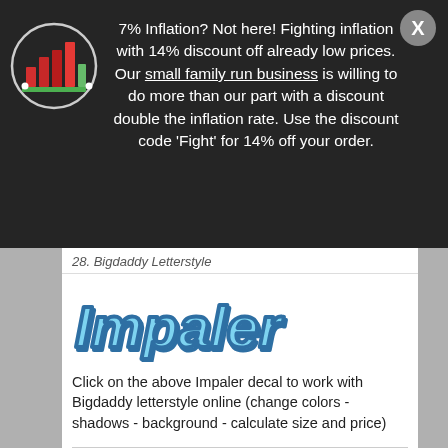[Figure (logo): Bar chart logo with red bars and green baseline on dark circular background]
7% Inflation? Not here! Fighting inflation with 14% discount off already low prices. Our small family run business is willing to do more than our part with a discount double the inflation rate. Use the discount code 'Fight' for 14% off your order.
28. Bigdaddy Letterstyle (partial)
[Figure (illustration): Impaler text logo in blue graffiti-style lettering]
Click on the above Impaler decal to work with Bigdaddy letterstyle online (change colors - shadows - background - calculate size and price)
29. Bill Board Letterstyle